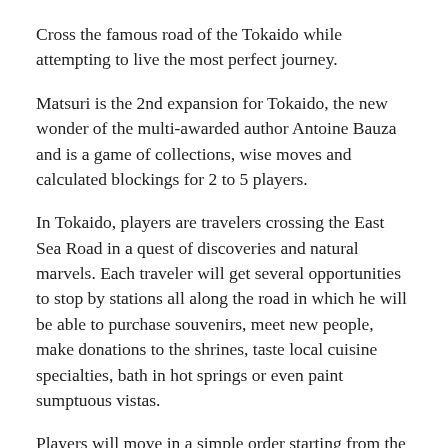Cross the famous road of the Tokaido while attempting to live the most perfect journey.
Matsuri is the 2nd expansion for Tokaido, the new wonder of the multi-awarded author Antoine Bauza and is a game of collections, wise moves and calculated blockings for 2 to 5 players.
In Tokaido, players are travelers crossing the East Sea Road in a quest of discoveries and natural marvels. Each traveler will get several opportunities to stop by stations all along the road in which he will be able to purchase souvenirs, meet new people, make donations to the shrines, taste local cuisine specialties, bath in hot springs or even paint sumptuous vistas.
Players will move in a simple order starting from the farthest to the closest one from the arrival, which will lead them to chose their moves wisely not to go too fast but also not to go too slowly.
The player order will change all the time, and as the places are more than limited in each station, travelers will have to face a